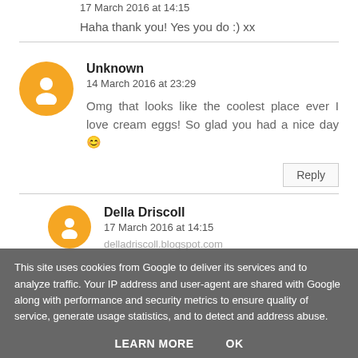17 March 2016 at 14:15
Haha thank you! Yes you do :) xx
Unknown
14 March 2016 at 23:29
Omg that looks like the coolest place ever I love cream eggs! So glad you had a nice day 😊
Reply
Della Driscoll
17 March 2016 at 14:15
This site uses cookies from Google to deliver its services and to analyze traffic. Your IP address and user-agent are shared with Google along with performance and security metrics to ensure quality of service, generate usage statistics, and to detect and address abuse.
LEARN MORE    OK